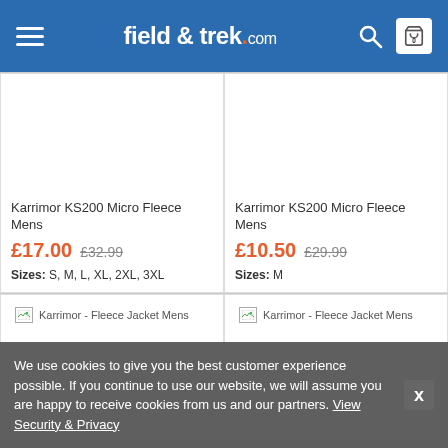field & trek.com
Karrimor KS200 Micro Fleece Mens — £17.00 (was £32.99) — Sizes: S, M, L, XL, 2XL, 3XL
Karrimor KS200 Micro Fleece Mens — £10.50 (was £29.99) — Sizes: M
[Figure (photo): Karrimor - Fleece Jacket Mens (broken image, left)]
[Figure (photo): Karrimor - Fleece Jacket Mens (broken image, right)]
We use cookies to give you the best customer experience possible. If you continue to use our website, we will assume you are happy to receive cookies from us and our partners. View Security & Privacy